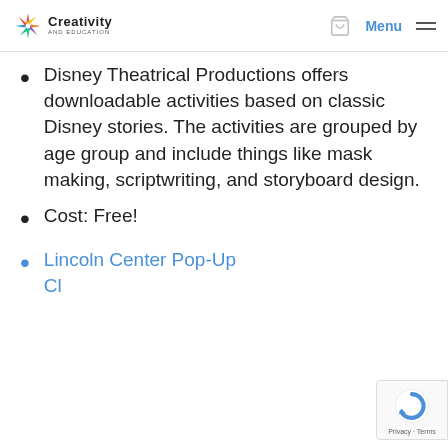Creativity and Education — Menu
Disney Theatrical Productions offers downloadable activities based on classic Disney stories. The activities are grouped by age group and include things like mask making, scriptwriting, and storyboard design.
Cost: Free!
Lincoln Center Pop-Up Cl…